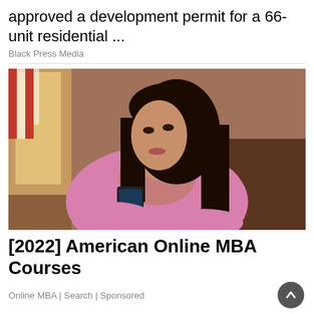approved a development permit for a 66-unit residential ...
Black Press Media
[Figure (photo): A young woman with long dark hair wearing a pink sweater holding a smartphone, sitting in what appears to be a cafe or restaurant with warm lighting and striped decor in the background.]
[2022] American Online MBA Courses
Online MBA | Search | Sponsored
[Figure (infographic): Banner advertisement: 'Looking for work or a new career? Featuring 15+ Exhibitors and Growing!' with event details 'September 8th, 11AM - 3PM CLICK HERE' and Industry Sponsor Interior Health logo.]